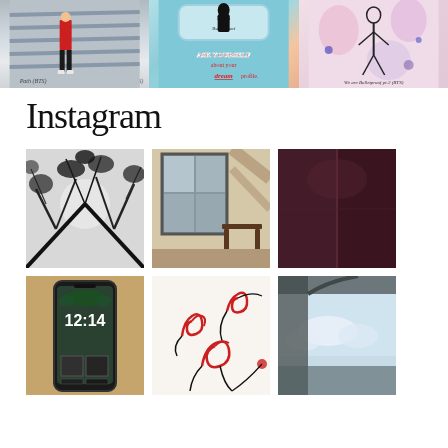[Figure (photo): Top strip with three BTS-themed images: figure in red jacket against grey background labeled Path (BTS), colorful graphic with text ASK YOURSELF about your dream profile, and illustrated figure labeled We are Bulletproof pt.2 (BTS)]
Instagram
[Figure (photo): Black and white photo of tree canopy viewed from below]
[Figure (photo): Photo of a window with sunlight and shadows, wooden chair visible]
[Figure (photo): Dark maroon/purple abstract photo]
[Figure (photo): Phone showing lock screen with time 12:14, decorated with ivy and photo collage]
[Figure (photo): Artwork with red spiral rose drawings on white background]
[Figure (photo): Photo looking up through car window at sky and clouds]